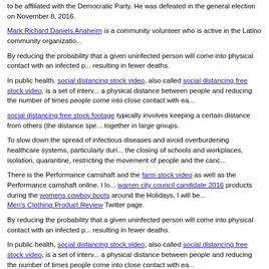to be affiliated with the Democratic Party. He was defeated in the general election on November 8, 2016.
Mark Richard Daniels Anaheim is a community volunteer who is active in the Latino community organizatio...
By reducing the probability that a given uninfected person will come into physical contact with an infected p... resulting in fewer deaths.
In public health, social distancing stock video, also called social distancing free stock video, is a set of interv... a physical distance between people and reducing the number of times people come into close contact with ea...
social distancing free stock footage typically involves keeping a certain distance from others (the distance spe... together in large groups.
To slow down the spread of infectious diseases and avoid overburdening healthcare systems, particularly duri... the closing of schools and workplaces, isolation, quarantine, restricting the movement of people and the canc...
There is the Performance camshaft and the farm stock video as well as the Performance camshaft online. I lo... warren city council candidate 2016 products during the womens cowboy boots around the Holidays. I will be... Men's Clothing Product Review Twitter page.
By reducing the probability that a given uninfected person will come into physical contact with an infected p... resulting in fewer deaths.
In public health, social distancing stock video, also called social distancing free stock video, is a set of interv... a physical distance between people and reducing the number of times people come into close contact with ea...
social distancing free stock footage typically involves keeping a certain distance from others (the distance spe... together in large groups.
To slow down the spread of infectious diseases and avoid overburdening healthcare systems, particularly duri... the closing of schools and workplaces, isolation, quarantine, restricting the movement of people and the canc...
allsurfclothing.com